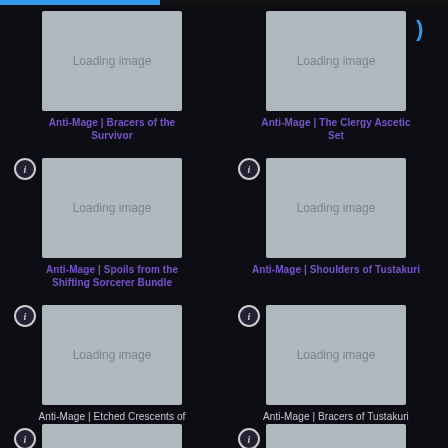[Figure (screenshot): Loading image placeholder for Anti-Mage item]
Anti-Mage | Bracers of the Survivor
[Figure (screenshot): Loading image placeholder for Anti-Mage item]
Anti-Mage | The Clergy Ascetic Set
[Figure (screenshot): Loading image placeholder for Anti-Mage item]
Anti-Mage | Spoils from the Shifting Sorcerer Bundle
[Figure (screenshot): Loading image placeholder for Anti-Mage item]
Anti-Mage | Shoulders of Tustakuri
[Figure (screenshot): Loading image placeholder for Anti-Mage item]
Anti-Mage | Etched Crescents of Yoskreth Pack
[Figure (screenshot): Loading image placeholder for Anti-Mage item]
Anti-Mage | Bracers of Tustakuri
[Figure (screenshot): Loading image placeholder (partial, bottom row left)]
[Figure (screenshot): Loading image placeholder (partial, bottom row right)]